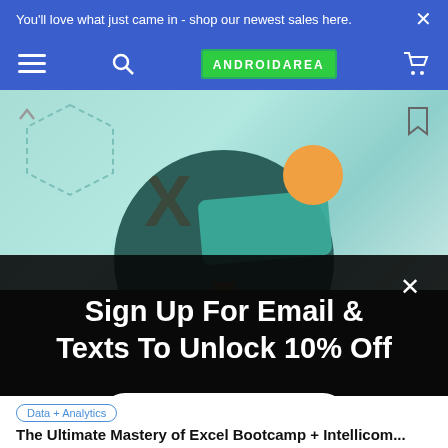You'll love what just came in - shop our newest sales here.
[Figure (screenshot): AndroidArea website navigation bar with hamburger menu, search icon, ANDROIDAREA logo, and cart icon on blue background]
[Figure (illustration): Article banner image with teal geometric background, dark circle with bar chart and X letter, teal rectangle, orange circle]
Sign Up For Email & Texts To Unlock 10% Off
Get Discount
Data + Analytics
The Ultimate Mastery of Excel Bootcamp + Intellicom...